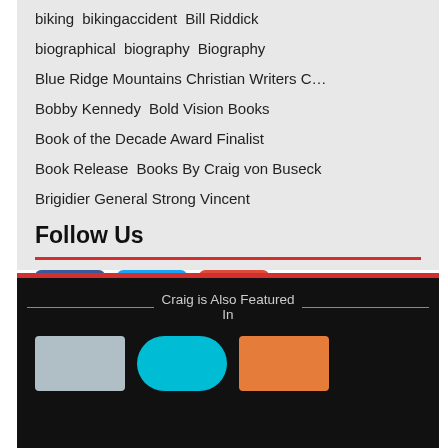biking  bikingaccident  Bill Riddick
biographical  biography  Biography
Blue Ridge Mountains Christian Writers C…
Bobby Kennedy  Bold Vision Books
Book of the Decade Award Finalist
Book Release  Books By Craig von Buseck
Brigidier General Strong Vincent
Follow Us
[Figure (illustration): Facebook, Twitter, and Google+ social media icon buttons in a row]
Craig is Also Featured In
[Figure (illustration): Three featured publication/platform image thumbnails at the bottom]